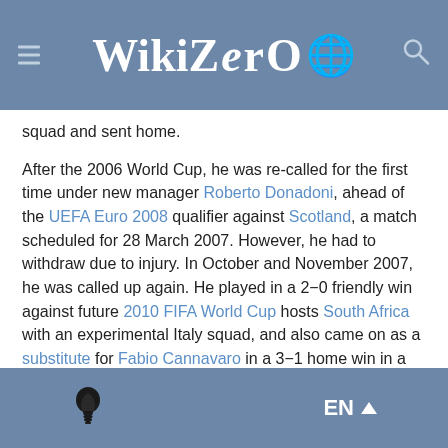WikiZero
squad and sent home.
After the 2006 World Cup, he was re-called for the first time under new manager Roberto Donadoni, ahead of the UEFA Euro 2008 qualifier against Scotland, a match scheduled for 28 March 2007. However, he had to withdraw due to injury. In October and November 2007, he was called up again. He played in a 2−0 friendly win against future 2010 FIFA World Cup hosts South Africa with an experimental Italy squad, and also came on as a substitute for Fabio Cannavaro in a 3−1 home win in a Euro 2008 qualifier against the Faroe Islands. He was not selected for Euro 2008.
After Marcello Lippi became Italy coach for the second time, Bonera was re-called in Lippi's first few matches, but was later left out of his
EN